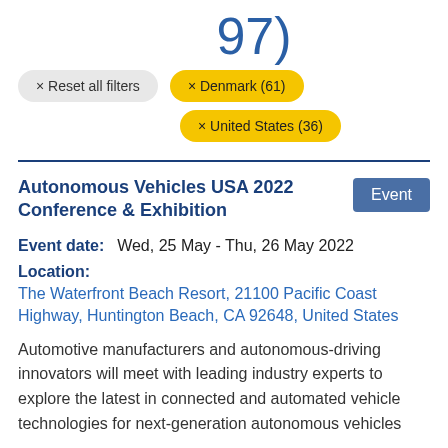97)
× Reset all filters
× Denmark (61)
× United States (36)
Autonomous Vehicles USA 2022 Conference & Exhibition
Event
Event date:   Wed, 25 May - Thu, 26 May 2022
Location:
The Waterfront Beach Resort, 21100 Pacific Coast Highway, Huntington Beach, CA 92648, United States
Automotive manufacturers and autonomous-driving innovators will meet with leading industry experts to explore the latest in connected and automated vehicle technologies for next-generation autonomous vehicles